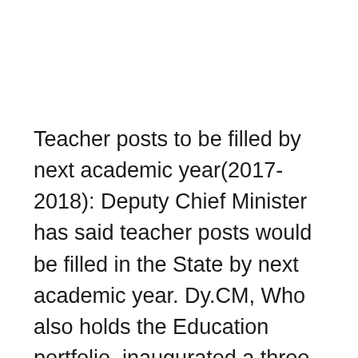Teacher posts to be filled by next academic year(2017-2018): Deputy Chief Minister has said teacher posts would be filled in the State by next academic year. Dy.CM, Who also holds the Education portfolio, inaugurated a three-day orientation program for RJD, DEO, and Assistant Directors at Sarva Shiksha Abhiyan.